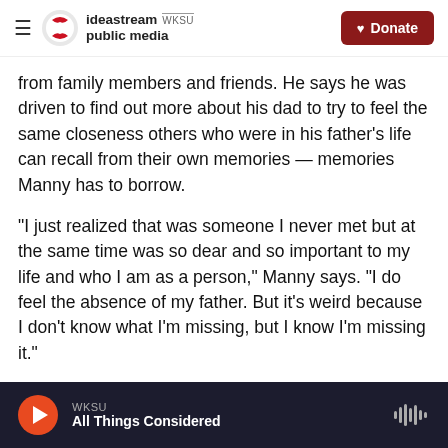ideastream public media | WKSU | Donate
from family members and friends. He says he was driven to find out more about his dad to try to feel the same closeness others who were in his father's life can recall from their own memories — memories Manny has to borrow.
"I just realized that was someone I never met but at the same time was so dear and so important to my life and who I am as a person," Manny says. "I do feel the absence of my father. But it's weird because I don't know what I'm missing, but I know I'm missing it."
WKSU — All Things Considered